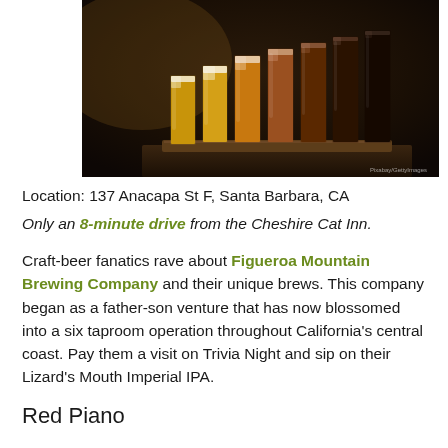[Figure (photo): A row of craft beer glasses in various colors from golden yellow to dark brown/black, arranged on a wooden board on a bar counter, photographed from the side in a dark setting.]
Location: 137 Anacapa St F, Santa Barbara, CA
Only an 8-minute drive from the Cheshire Cat Inn.
Craft-beer fanatics rave about Figueroa Mountain Brewing Company and their unique brews. This company began as a father-son venture that has now blossomed into a six taproom operation throughout California's central coast. Pay them a visit on Trivia Night and sip on their Lizard's Mouth Imperial IPA.
Red Piano